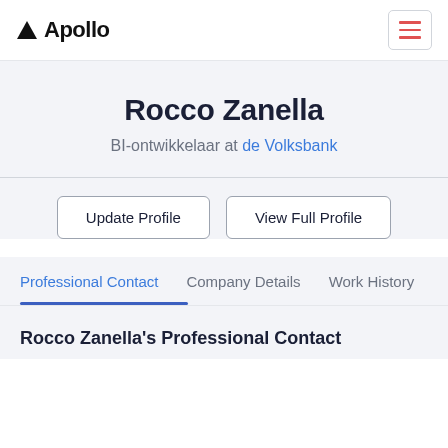Apollo
Rocco Zanella
BI-ontwikkelaar at de Volksbank
Update Profile | View Full Profile
Professional Contact  Company Details  Work History
Rocco Zanella's Professional Contact